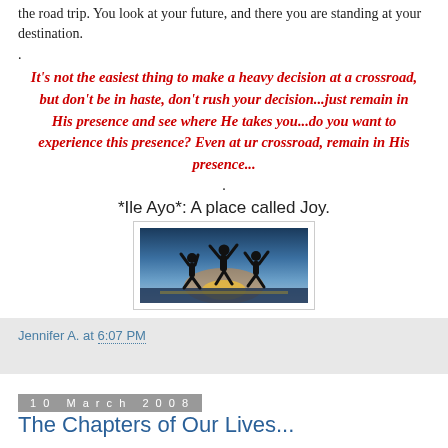the road trip. You look at your future, and there you are standing at your destination.
.
It's not the easiest thing to make a heavy decision at a crossroad, but don't be in haste, don't rush your decision...just remain in His presence and see where He takes you...do you want to experience this presence? Even at ur crossroad, remain in His presence...
.
*Ile Ayo*: A place called Joy.
[Figure (photo): Silhouette of three people jumping joyfully against a sunset sky over water]
Jennifer A. at 6:07 PM
10 March 2008
The Chapters of Our Lives...